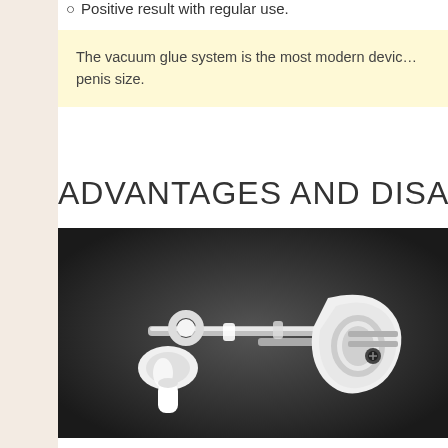Positive result with regular use.
The vacuum glue system is the most modern device... penis size.
ADVANTAGES AND DISA
[Figure (photo): White medical/therapeutic extender device with metal rod and silicone components on dark background]